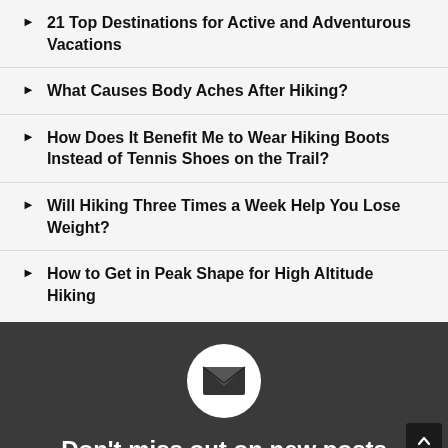21 Top Destinations for Active and Adventurous Vacations
What Causes Body Aches After Hiking?
How Does It Benefit Me to Wear Hiking Boots Instead of Tennis Shoes on the Trail?
Will Hiking Three Times a Week Help You Lose Weight?
How to Get in Peak Shape for High Altitude Hiking
[Figure (illustration): Dark footer section with a white circle containing a mail/envelope icon, and text 'Don't miss out on new posts' below it. A scroll-to-top button is in the bottom right corner.]
Don't miss out on new posts